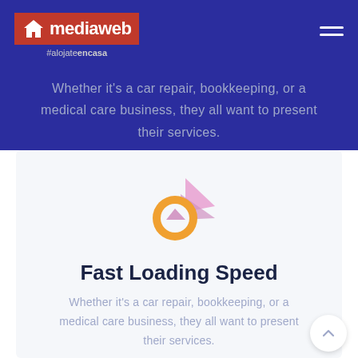[Figure (logo): Mediaweb logo with red background, house icon, white text 'mediaweb', and tagline '#alojateencasa' on dark navy header]
Whether it's a car repair, bookkeeping, or a medical care business, they all want to present their services.
[Figure (illustration): Speedometer/gauge icon with orange circle ring and pink/lavender triangular pointer graphic]
Fast Loading Speed
Whether it's a car repair, bookkeeping, or a medical care business, they all want to present their services.